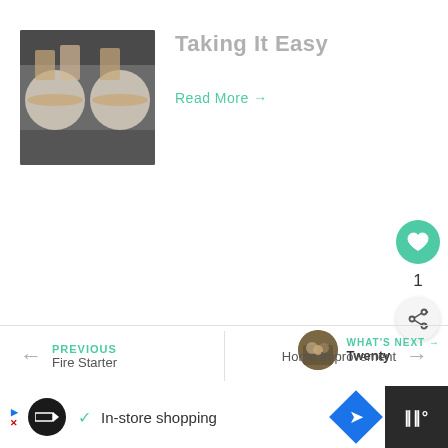[Figure (photo): Food photo showing two white plates with bagels or open-faced sandwiches on a dark table surface, drinks visible in background]
Taking It Easy
Read More →
1
[Figure (photo): Small circular avatar showing a group of people]
WHAT'S NEXT → Twenty
Home Improvement
PREVIOUS
Fire Starter
In-store shopping